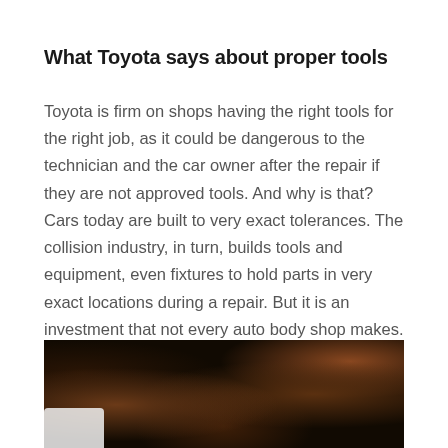What Toyota says about proper tools
Toyota is firm on shops having the right tools for the right job, as it could be dangerous to the technician and the car owner after the repair if they are not approved tools. And why is that? Cars today are built to very exact tolerances. The collision industry, in turn, builds tools and equipment, even fixtures to hold parts in very exact locations during a repair. But it is an investment that not every auto body shop makes.
[Figure (photo): Dark photograph of automotive tools or parts against a black/dark brown background, with a white/light object visible at the bottom left corner.]